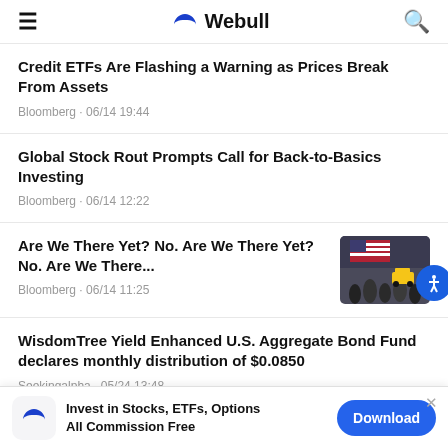≡   Webull   🔍
Credit ETFs Are Flashing a Warning as Prices Break From Assets
Bloomberg · 06/14 19:44
Global Stock Rout Prompts Call for Back-to-Basics Investing
Bloomberg · 06/14 12:22
Are We There Yet? No. Are We There Yet? No. Are We There...
Bloomberg · 06/14 11:25
[Figure (photo): Photo of people walking near New York Stock Exchange with American flag visible]
WisdomTree Yield Enhanced U.S. Aggregate Bond Fund declares monthly distribution of $0.0850
Seekingalpha · 05/24 13:48
Invest in Stocks, ETFs, Options All Commission Free
Download